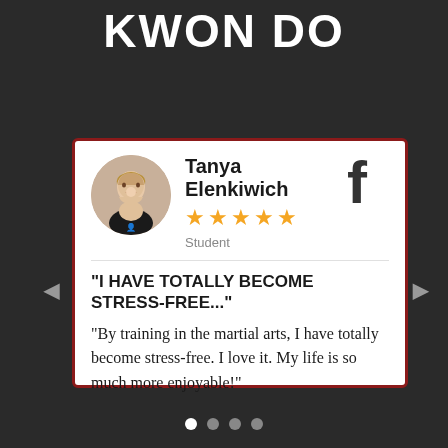KWON DO
[Figure (photo): Circular avatar photo of Tanya Elenkiwich, a smiling woman with blonde hair wearing a black top]
Tanya Elenkiwich
★★★★★
Student
[Figure (logo): Facebook f logo in dark gray]
"I HAVE TOTALLY BECOME STRESS-FREE..."
“By training in the martial arts, I have totally become stress-free. I love it. My life is so much more enjoyable!”